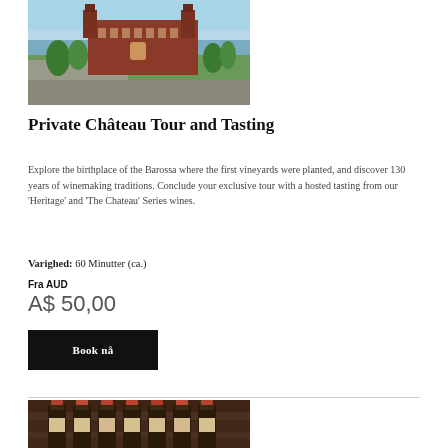[Figure (photo): Aerial view of a large red-brick chateau/winery building surrounded by green lawns, palm trees, and parking areas under a blue sky]
Private Château Tour and Tasting
Explore the birthplace of the Barossa where the first vineyards were planted, and discover 130 years of winemaking traditions. Conclude your exclusive tour with a hosted tasting from our 'Heritage' and 'The Chateau' Series wines.
Varighet: 60 Minutter (ca.)
Fra AUD
A$ 50,00
Book nå
[Figure (photo): Close-up of wine bottles with red wax/foil tops, arranged in rows against a dark background]